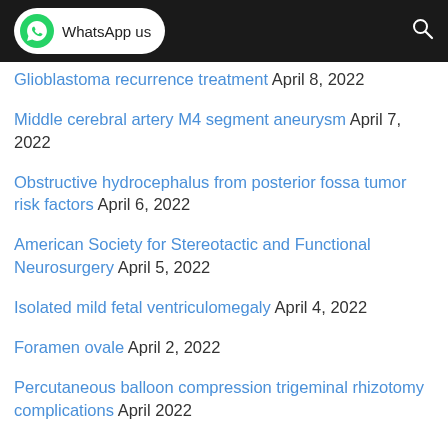WhatsApp us
Glioblastoma recurrence treatment April 8, 2022
Middle cerebral artery M4 segment aneurysm April 7, 2022
Obstructive hydrocephalus from posterior fossa tumor risk factors April 6, 2022
American Society for Stereotactic and Functional Neurosurgery April 5, 2022
Isolated mild fetal ventriculomegaly April 4, 2022
Foramen ovale April 2, 2022
Percutaneous balloon compression trigeminal rhizotomy complications April 2022